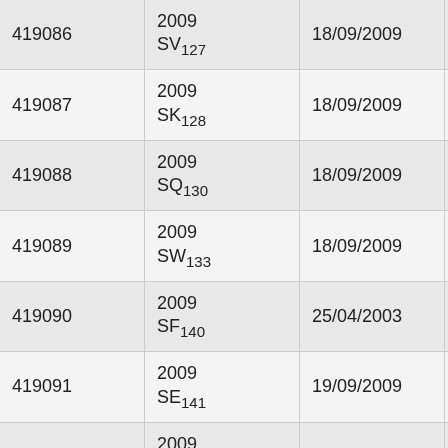| Number | Designation | Date | Observatory |  |
| --- | --- | --- | --- | --- |
| 419086 | 2009 SV127 | 18/09/2009 | Catalina | C |
| 419087 | 2009 SK128 | 18/09/2009 | Kitt Peak | S |
| 419088 | 2009 SQ130 | 18/09/2009 | Kitt Peak | S |
| 419089 | 2009 SW133 | 18/09/2009 | Kitt Peak | S |
| 419090 | 2009 SF140 | 25/04/2003 | Kitt Peak | S |
| 419091 | 2009 SE141 | 19/09/2009 | Kitt Peak | S |
| 419092 | 2009 SZ144 | 28/08/2009 | Kitt Peak | S |
| 419093 | 2009 SO... | 19/09/2009 | Kitt Peak | S |